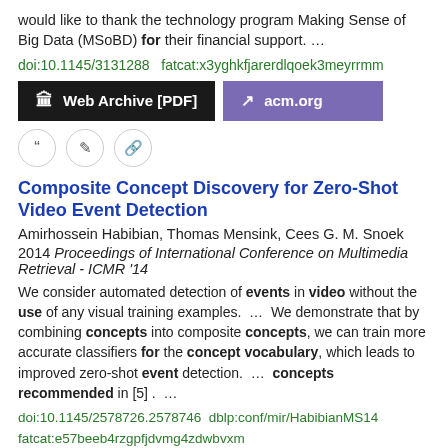would like to thank the technology program Making Sense of Big Data (MSoBD) for their financial support.  ...
doi:10.1145/3131288  fatcat:x3yghkfjarerdlqoek3meyrrmm
[Figure (other): Two buttons: 'Web Archive [PDF]' (dark/black background) and 'acm.org' (purple background), followed by three icon circles (quote, edit, link)]
Composite Concept Discovery for Zero-Shot Video Event Detection
Amirhossein Habibian, Thomas Mensink, Cees G. M. Snoek
2014 Proceedings of International Conference on Multimedia Retrieval - ICMR '14
We consider automated detection of events in video without the use of any visual training examples.  ...  We demonstrate that by combining concepts into composite concepts, we can train more accurate classifiers for the concept vocabulary, which leads to improved zero-shot event detection.  ...  concepts recommended in [5] .  ...
doi:10.1145/2578726.2578746  dblp:conf/mir/HabibianMS14 fatcat:e57beeb4rzgpfjdvmg4zdwbvxm